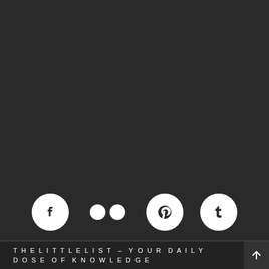[Figure (other): Dark background area (empty/blank section)]
[Figure (infographic): Social media icon row: Facebook (circle with f), Flickr (two dots), Pinterest (circle with P), Tumblr (circle with t) — white icons on dark background]
THELITTLELIST – YOUR DAILY DOSE OF KNOWLEDGE